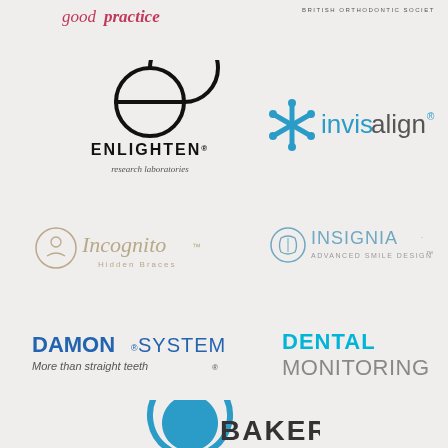[Figure (logo): goodpractice logo in pink/red script font]
[Figure (logo): British Orthodontic Society logo text in small caps]
[Figure (logo): Enlighten Research Laboratories logo with circular e symbol and serif text]
[Figure (logo): Invisalign logo with blue snowflake/asterisk icon and sans-serif text]
[Figure (logo): Incognito Hidden Braces logo with circular icon and gold/tan text]
[Figure (logo): Insignia Advanced Smile Design logo with tooth icon]
[Figure (logo): Damon System More than straight teeth logo in blue bold text]
[Figure (logo): Dental Monitoring logo in cyan and gray text]
[Figure (logo): Baker logo with circular arc icon - partially visible at bottom]